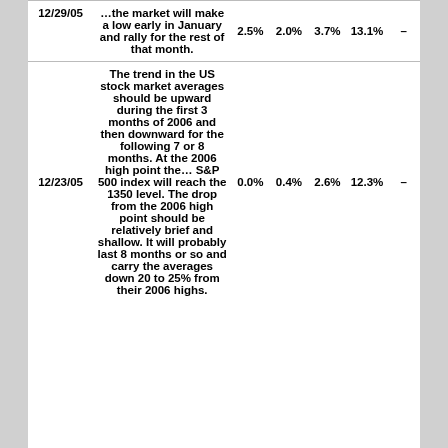| Date | Prediction | 1wk | 1mo | 3mo | 1yr | Result |
| --- | --- | --- | --- | --- | --- | --- |
| 12/29/05 | …the market will make a low early in January and rally for the rest of that month. | 2.5% | 2.0% | 3.7% | 13.1% | – |
| 12/23/05 | The trend in the US stock market averages should be upward during the first 3 months of 2006 and then downward for the following 7 or 8 months. At the 2006 high point the… S&P 500 index will reach the 1350 level. The drop from the 2006 high point should be relatively brief and shallow. It will probably last 8 months or so and carry the averages down 20 to 25% from their 2006 highs. | 0.0% | 0.4% | 2.6% | 12.3% | – |